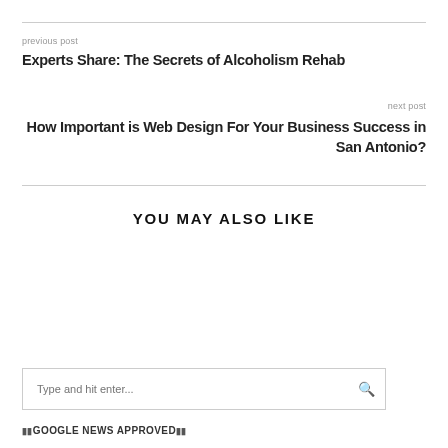previous post
Experts Share: The Secrets of Alcoholism Rehab
next post
How Important is Web Design For Your Business Success in San Antonio?
YOU MAY ALSO LIKE
Type and hit enter...
GOOGLE NEWS APPROVED